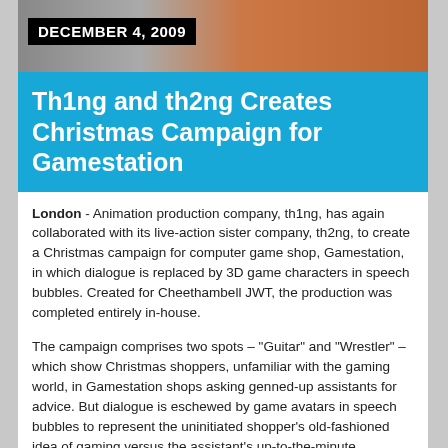[Figure (photo): Photo of people in a store, with a black overlay box showing the date DECEMBER 4, 2009]
DECEMBER 4, 2009
Th1ng and th2ng Creates Christmas Campaign for Gamestation
London - Animation production company, th1ng, has again collaborated with its live-action sister company, th2ng, to create a Christmas campaign for computer game shop, Gamestation, in which dialogue is replaced by 3D game characters in speech bubbles. Created for Cheethambell JWT, the production was completed entirely in-house.
The campaign comprises two spots – "Guitar" and "Wrestler" – which show Christmas shoppers, unfamiliar with the gaming world, in Gamestation shops asking genned-up assistants for advice. But dialogue is eschewed by game avatars in speech bubbles to represent the uninitiated shopper's old-fashioned idea of gaming versus the assistant's up-to-the-minute knowledge of what games are currently in. So "Guitar" sees a retro animated guitar player in the shopper's speech bubble, but a sophisticated animated guitar player in the shop assistant's bubble. The spots end with the contemporary characters blowing their retro counterparts out the water.